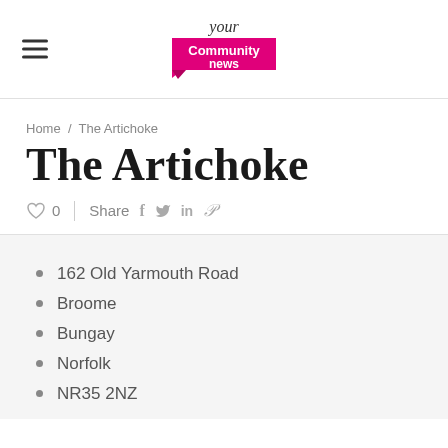Your Community news (logo)
Home / The Artichoke
The Artichoke
♡ 0 | Share f t in p
162 Old Yarmouth Road
Broome
Bungay
Norfolk
NR35 2NZ